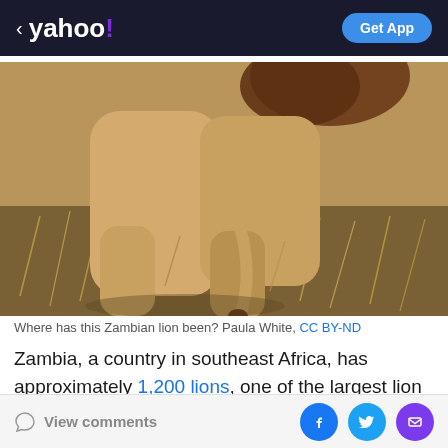< yahoo! | Get App
[Figure (photo): Close-up photo of a lion walking through dry savanna grassland in Zambia, showing the body from mid-section down with legs and dried brown grass background.]
Where has this Zambian lion been? Paula White, CC BY-ND
Zambia, a country in southeast Africa, has approximately 1,200 lions, one of the largest lion populations on the continent. More than 40% of the U-shaped country is protected land, with over 120,000 square miles of
View comments | Facebook | Twitter | Email